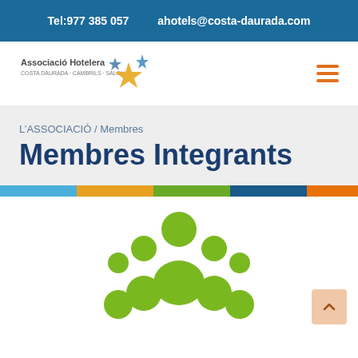Tel:977 385 057   ahotels@costa-daurada.com
[Figure (logo): Associació Hotelera logo with star icons in blue and gold]
L'ASSOCIACIÓ / Membres
Membres Integrants
[Figure (illustration): Green group of people / members icon — silhouettes of 5 people arranged as a group]